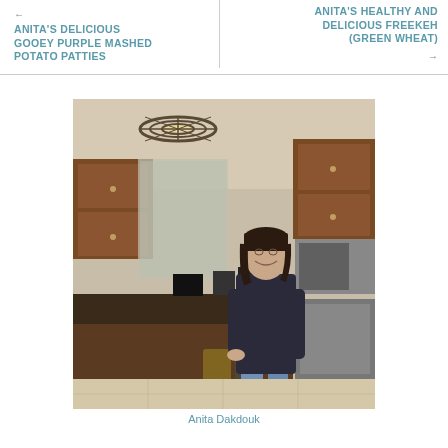← ANITA'S DELICIOUS GOOEY PURPLE MASHED POTATO PATTIES
ANITA'S HEALTHY AND DELICIOUS FREEKEH (GREEN WHEAT) →
[Figure (photo): Woman standing in a kitchen with dark wood cabinets, granite countertop island, stainless steel appliances. She is wearing a dark blazer and jeans, smiling, with short dark hair. Decorative chandelier visible in background.]
Anita Dakdouk